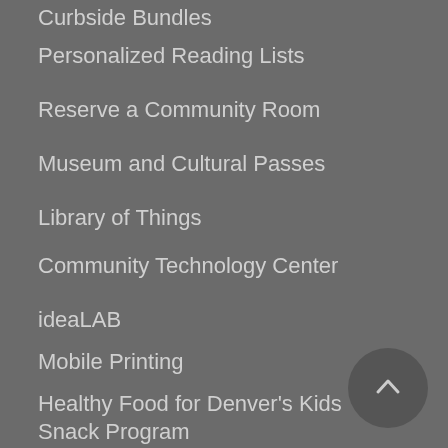Curbside Bundles
Personalized Reading Lists
Reserve a Community Room
Museum and Cultural Passes
Library of Things
Community Technology Center
ideaLAB
Mobile Printing
Healthy Food for Denver's Kids Snack Program
Locations and Hours
Locations & Hours